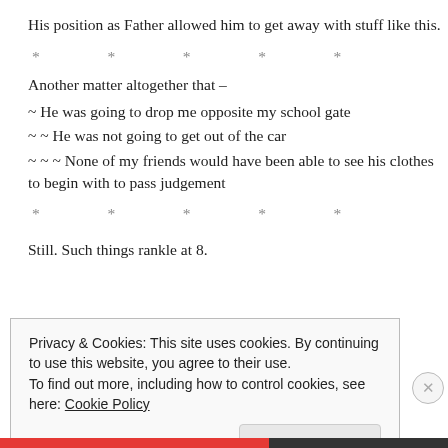His position as Father allowed him to get away with stuff like this.
* * * * *
Another matter altogether that –
~ He was going to drop me opposite my school gate
~ ~ He was not going to get out of the car
~ ~ ~ None of my friends would have been able to see his clothes to begin with to pass judgement
* * * * *
Still. Such things rankle at 8.
Privacy & Cookies: This site uses cookies. By continuing to use this website, you agree to their use.
To find out more, including how to control cookies, see here: Cookie Policy
Close and accept